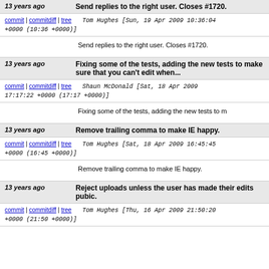13 years ago   Send replies to the right user. Closes #1720.
commit | commitdiff | tree   Tom Hughes [Sun, 19 Apr 2009 10:36:04 +0000 (10:36 +0000)]
Send replies to the right user. Closes #1720.
13 years ago   Fixing some of the tests, adding the new tests to make sure that you can't edit when...
commit | commitdiff | tree   Shaun McDonald [Sat, 18 Apr 2009 17:17:22 +0000 (17:17 +0000)]
Fixing some of the tests, adding the new tests to m
13 years ago   Remove trailing comma to make IE happy.
commit | commitdiff | tree   Tom Hughes [Sat, 18 Apr 2009 16:45:45 +0000 (16:45 +0000)]
Remove trailing comma to make IE happy.
13 years ago   Reject uploads unless the user has made their edits pubic.
commit | commitdiff | tree   Tom Hughes [Thu, 16 Apr 2009 21:50:20 +0000 (21:50 +0000)]